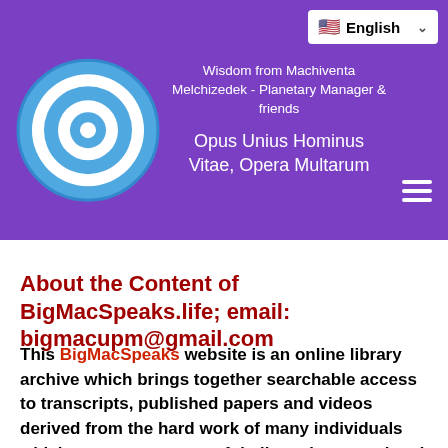[Figure (logo): Website header with purple background, circular target logo on left, tagline and subtitle text in center, English language selector top right, hamburger menu icon bottom right]
About the Content of BigMacSpeaks.life; email: bigmacupm@gmail.com
This BigMacSpeaks website is an online library archive which brings together searchable access to transcripts, published papers and videos derived from the hard work of many individuals which represents years of dedicated personal and group efforts, time and resources. The intention of this site is to attempt to provide a common place to utilize these materials to assist the mortal mind to understand the importance of relationships. Relationships